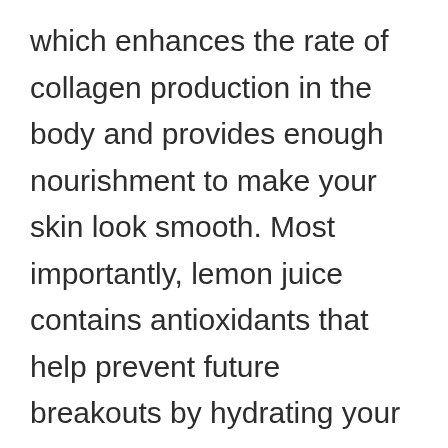which enhances the rate of collagen production in the body and provides enough nourishment to make your skin look smooth. Most importantly, lemon juice contains antioxidants that help prevent future breakouts by hydrating your skin and fighting against free radicals that cause the scars left behind by acne.
Click Here to Check This Product @ Amazon.com